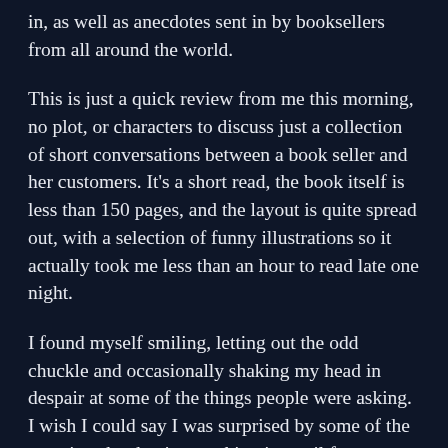in, as well as anecdotes sent in by booksellers from all around the world.
This is just a quick review from me this morning, no plot, or characters to discuss just a collection of short conversations between a book seller and her customers. It's a short read, the book itself is less than 150 pages, and the layout is quite spread out, with a selection of funny illustrations so it actually took me less than an hour to read late one night.
I found myself smiling, letting out the odd chuckle and occasionally shaking my head in despair at some of the things people were asking. I wish I could say I was surprised by some of the questions but having working in retail for a number of years (although not in a bookshop) I'm more than familiar with some of the stranger questions and requests you occasionally (or not so occasionally) find yourself facing. The following example comes from the